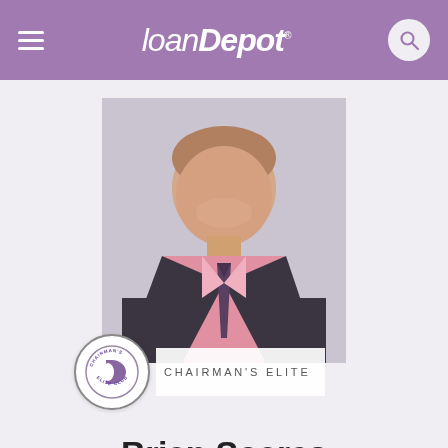[Figure (logo): loanDepot logo in white italic text on purple header bar with hamburger menu icon and search button]
[Figure (photo): Professional headshot of Brian Soares, a man in a dark suit jacket with a pink dress shirt and striped tie, smiling, on a light gray background. A Chairman's Elite Club badge is overlaid at the bottom left of the photo frame, and the text CHAIRMAN'S ELITE appears beside it.]
Brian Soares
Loan Consultant · NMLS: 18524